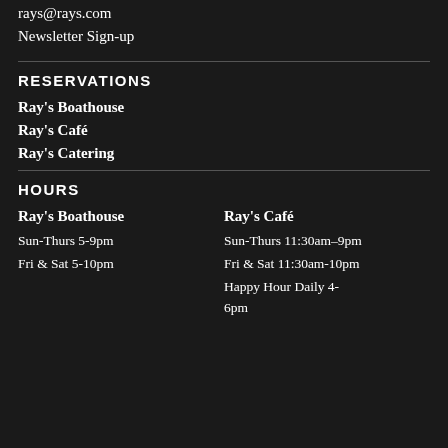rays@rays.com
Newsletter Sign-up
RESERVATIONS
Ray's Boathouse
Ray's Café
Ray's Catering
HOURS
Ray's Boathouse
Sun-Thurs 5-9pm
Fri & Sat 5-10pm
Ray's Café
Sun-Thurs 11:30am–9pm
Fri & Sat 11:30am-10pm
Happy Hour Daily 4-6pm